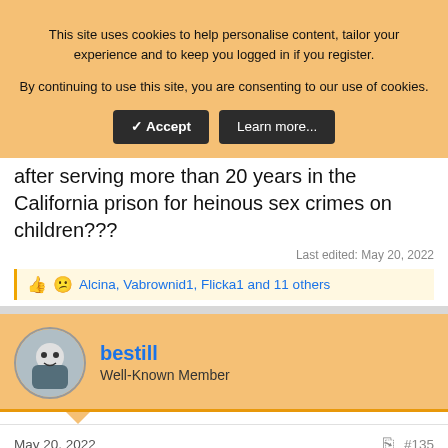This site uses cookies to help personalise content, tailor your experience and to keep you logged in if you register.
By continuing to use this site, you are consenting to our use of cookies.
after serving more than 20 years in the California prison for heinous sex crimes on children???
Last edited: May 20, 2022
Alcina, Vabrownid1, Flicka1 and 11 others
bestill
Well-Known Member
May 20, 2022
#135